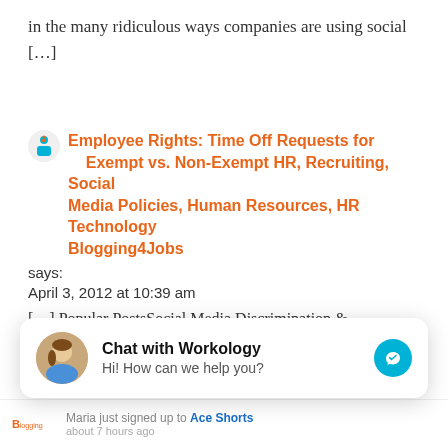in the many ridiculous ways companies are using social [...]
Employee Rights: Time Off Requests for Exempt vs. Non-Exempt HR, Recruiting, Social Media Policies, Human Resources, HR Technology Blogging4Jobs says:
April 3, 2012 at 10:39 am
[...] Popular PostsSocial Media Discrimination & Social Media Recruiting [...]
US Bill Would Make Employer Requests for
[Figure (screenshot): Chat with Workology widget showing avatar, title 'Chat with Workology', subtitle 'Hi! How can we help you?' and a teal messenger icon]
Maria just signed up to Ace Shorts
about 7 hours ago